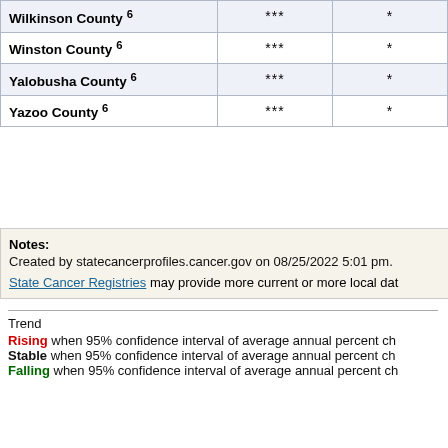| County | *** | * |
| --- | --- | --- |
| Wilkinson County 6 | *** | * |
| Winston County 6 | *** | * |
| Yalobusha County 6 | *** | * |
| Yazoo County 6 | *** | * |
Notes:
Created by statecancerprofiles.cancer.gov on 08/25/2022 5:01 pm.
State Cancer Registries may provide more current or more local dat
Trend
Rising when 95% confidence interval of average annual percent ch
Stable when 95% confidence interval of average annual percent ch
Falling when 95% confidence interval of average annual percent ch
⁋ Results presented with the CI*Rank statistics help show the usefu be essentially meaningless because of their large variability, but ran information about methodology can be found on the CI*Rank websi
† Incidence rates (cases per 100,000 population per year) are age-ad Rates are for invasive cancer only (except for bladder cancer which Population counts for denominators are based on Census populatio